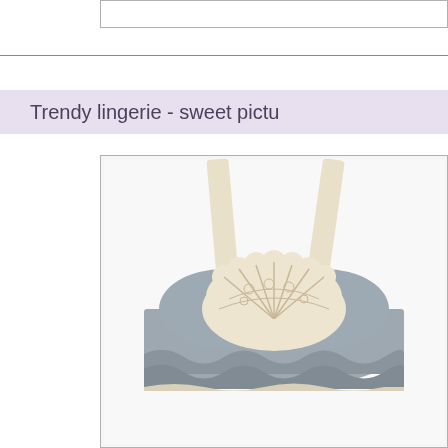Trendy lingerie - sweet pictu
[Figure (photo): Gray ruffled lingerie bralette with cream lace fan embellishment and cream shoulder straps, displayed against white background]